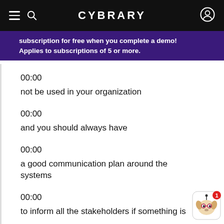CYBRARY
subscription for free when you complete a demo! Applies to subscriptions of 5 or more.
00:00
not be used in your organization
00:00
and you should always have
00:00
a good communication plan around the systems
00:00
to inform all the stakeholders if something is